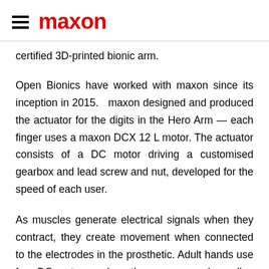maxon
certified 3D-printed bionic arm.
Open Bionics have worked with maxon since its inception in 2015.   maxon designed and produced the actuator for the digits in the Hero Arm — each finger uses a maxon DCX 12 L motor. The actuator consists of a DC motor driving a customised gearbox and lead screw and nut, developed for the speed of each user.
As muscles generate electrical signals when they contract, they create movement when connected to the electrodes in the prosthetic. Adult hands use four DC motors and, as they are so much smaller, a child's hand uses only three. As space is limited, Open Bionics chose